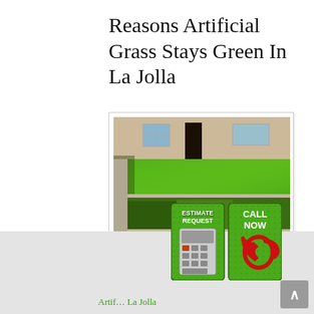Reasons Artificial Grass Stays Green In La Jolla
[Figure (photo): Photograph of a home exterior with bright green artificial grass lawn edged by concrete retaining wall and trimmed hedges in the foreground, residential building visible in background]
[Figure (infographic): Two call-to-action buttons on a green grass textured background: 'ESTIMATE REQUEST' button with calculator icon on the left, and 'CALL NOW' button with red telephone icon on the right]
Artif… La Jolla